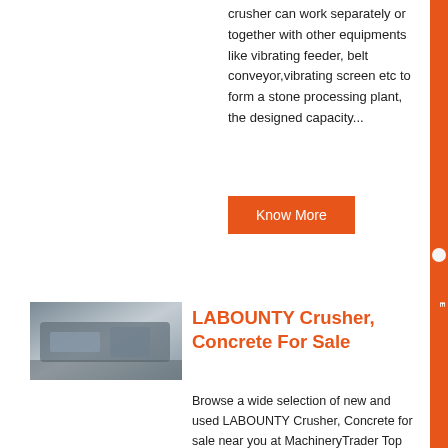crusher can work separately or together with other equipments like vibrating feeder, belt conveyor,vibrating screen etc to form a stone processing plant, the designed capacity...
Know More
[Figure (photo): Indoor industrial machinery photo, showing large equipment in a factory/warehouse setting]
LABOUNTY Crusher, Concrete For Sale
Browse a wide selection of new and used LABOUNTY Crusher, Concrete for sale near you at MachineryTrader Top models include CP80, CP60, CP100, and MRX200...
Know More
[Figure (photo): Industrial machinery/conveyor belt photo in a warehouse or factory]
5 Types of Concrete Crushers for ,
28-10-2021 0183 32 Concrete block often appears after building and bridge demolition, which will cause problems like pollutions and land waste There are mainly 5 types of concrete crushers that...